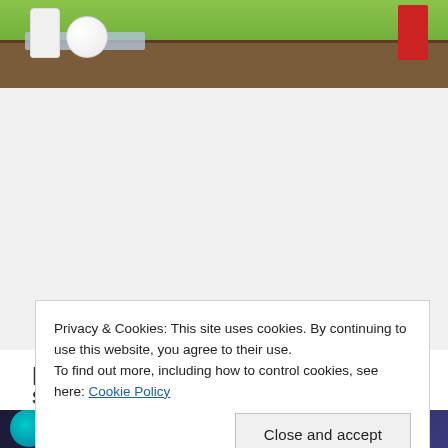[Figure (photo): Outdoor scene with white kitchen appliances/products on a wooden table with a blue cloth, green grass background and a person in red on the right]
Privacy & Cookies: This site uses cookies. By continuing to use this website, you agree to their use.
To find out more, including how to control cookies, see here: Cookie Policy
Close and accept
H
S
[Figure (photo): Bottom partial photo showing a teal circle logo/avatar on a dark blue background]